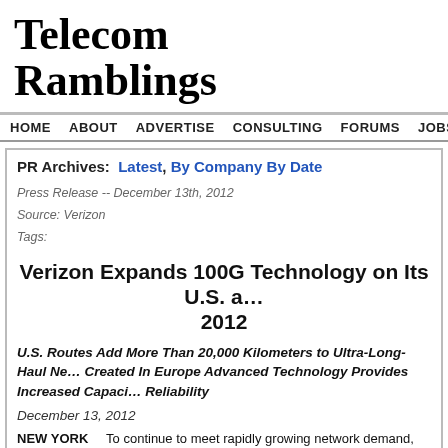Telecom Ramblings
HOME   ABOUT   ADVERTISE   CONSULTING   FORUMS   JOBS   CO
PR Archives:  Latest, By Company By Date
Press Release -- December 13th, 2012
Source: Verizon
Tags:
Verizon Expands 100G Technology on Its U.S. a… 2012
U.S. Routes Add More Than 20,000 Kilometers to Ultra-Long-Haul Ne… Created In Europe Advanced Technology Provides Increased Capaci… Reliability
December 13, 2012
NEW YORK      To continue to meet rapidly growing network demand, Verizon…